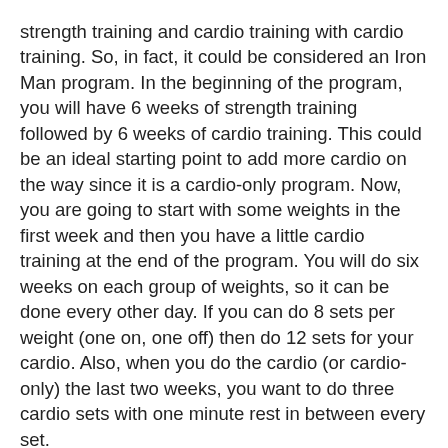strength training and cardio training with cardio training. So, in fact, it could be considered an Iron Man program. In the beginning of the program, you will have 6 weeks of strength training followed by 6 weeks of cardio training. This could be an ideal starting point to add more cardio on the way since it is a cardio-only program. Now, you are going to start with some weights in the first week and then you have a little cardio training at the end of the program. You will do six weeks on each group of weights, so it can be done every other day. If you can do 8 sets per weight (one on, one off) then do 12 sets for your cardio. Also, when you do the cardio (or cardio-only) the last two weeks, you want to do three cardio sets with one minute rest in between every set.
What you are looking for is endurance. You want to keep your cardio training to at least